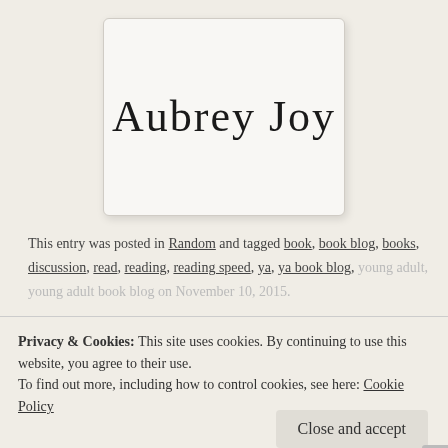[Figure (logo): Aubrey Joy logo in cursive/handwritten script on white card with rounded border and shadow]
This entry was posted in Random and tagged book, book blog, books, discussion, read, reading, reading speed, ya, ya book blog, young adult, young adult book blog on November 10, 2015.
Privacy & Cookies: This site uses cookies. By continuing to use this website, you agree to their use.
To find out more, including how to control cookies, see here: Cookie Policy